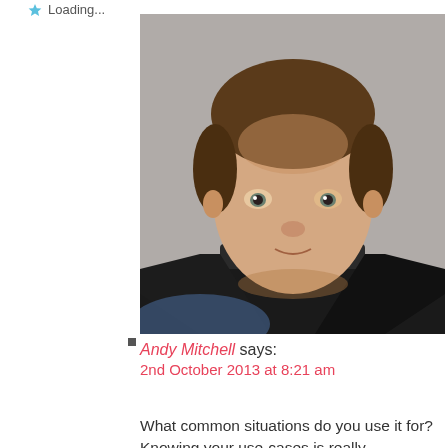Loading...
[Figure (photo): Portrait photo of a young man with short brown hair, looking at camera, wearing a dark jacket, gray/neutral background.]
Andy Mitchell says:
2nd October 2013 at 8:21 am
What common situations do you use it for? Knowing your use-cases is really interesting for justifying it!